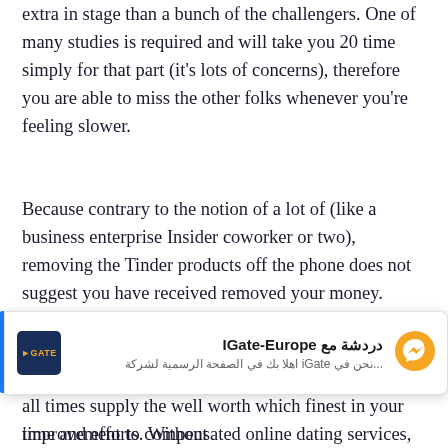extra in stage than a bunch of the challengers. One of many studies is required and will take you 20 time simply for that part (it's lots of concerns), therefore you are able to miss the other folks whenever you're feeling slower.
Because contrary to the notion of a lot of (like a business enterprise Insider coworker or two), removing the Tinder products off the phone does not suggest you have received removed your money. While free of cost relationship website internet the web sites is likely to be basic alternatives in relation to researching a special someone, these people don't at all times supply the well worth which finest in your time and efforts. Without
[Figure (screenshot): Chat popup overlay from IGate-Europe Facebook page showing logo, Arabic text 'دردشة مع IGate-Europe', subtext in Arabic '...نحن في iGate اهلا بك في الصفحة الرسمية لشركة', and a blue Messenger icon on the right.]
improvement to compensated online dating services,